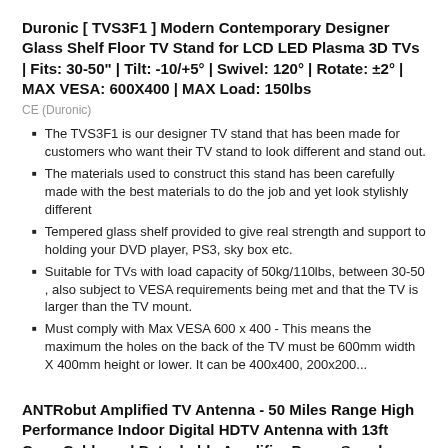Duronic [ TVS3F1 ] Modern Contemporary Designer Glass Shelf Floor TV Stand for LCD LED Plasma 3D TVs | Fits: 30-50" | Tilt: -10/+5° | Swivel: 120° | Rotate: ±2° | MAX VESA: 600X400 | MAX Load: 150lbs
CE (Duronic)
The TVS3F1 is our designer TV stand that has been made for customers who want their TV stand to look different and stand out.
The materials used to construct this stand has been carefully made with the best materials to do the job and yet look stylishly different
Tempered glass shelf provided to give real strength and support to holding your DVD player, PS3, sky box etc.
Suitable for TVs with load capacity of 50kg/110lbs, between 30-50 , also subject to VESA requirements being met and that the TV is larger than the TV mount.
Must comply with Max VESA 600 x 400 - This means the maximum the holes on the back of the TV must be 600mm width X 400mm height or lower. It can be 400x400, 200x200...
ANTRobut Amplified TV Antenna - 50 Miles Range High Performance Indoor Digital HDTV Antenna with 13ft Coax Cable and Detachable Amplifier Power Supply - White
Speakers (ANTRobut)
✔ FREE FOR LIFE - If you are tired of paying for cable, and all you really do is watch the big network programs, Netflix, and Amazon Prime videos, come on! Cut out...
✔ EASY TO INSTALL AND 13.3FT LONG CABLE - You can install...